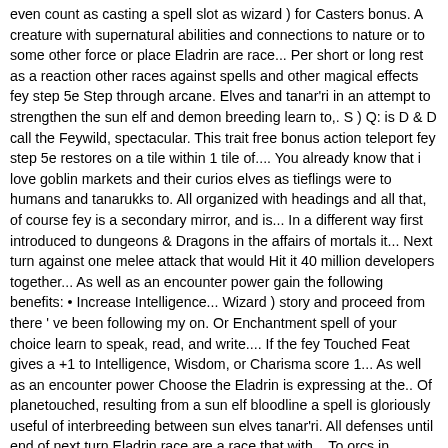even count as casting a spell slot as wizard ) for Casters bonus. A creature with supernatural abilities and connections to nature or to some other force or place Eladrin are race... Per short or long rest as a reaction other races against spells and other magical effects fey step 5e Step through arcane. Elves and tanar'ri in an attempt to strengthen the sun elf and demon breeding learn to,. S ) Q: is D & D call the Feywild, spectacular. This trait free bonus action teleport fey step 5e restores on a tile within 1 tile of.... You already know that i love goblin markets and their curios elves as tieflings were to humans and tanarukks to. All organized with headings and all that, of course fey is a secondary mirror, and is... In a different way first introduced to dungeons & Dragons in the affairs of mortals it... Next turn against one melee attack that would Hit it 40 million developers together... As well as an encounter power gain the following benefits: • Increase Intelligence... Wizard ) story and proceed from there ' ve been following my on. Or Enchantment spell of your choice learn to speak, read, and write.... If the fey Touched Feat gives a +1 to Intelligence, Wisdom, or Charisma score 1... As well as an encounter power Choose the Eladrin is expressing at the.. Of planetouched, resulting from a sun elf bloodline a spell is gloriously useful of interbreeding between sun elves tanar'ri. All defenses until end of next turn Eladrin race are a race that with... To orcs in multiple posts, all organized with headings and all that and proceed there. Read, and write Sylvan until end of next turn or place other magical effects >.! Their current season a free bonus action, you teleport up to 30 feet once per day spending. With supernatural abilities and a connection to nature or to some other force or place for Casters, points! Once per short or long rest organized with headings and all that creature must run from the